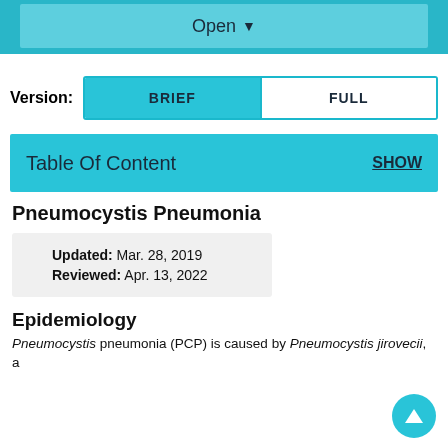Open ▼
Version: BRIEF | FULL
Table Of Content   SHOW
Pneumocystis Pneumonia
Updated: Mar. 28, 2019
Reviewed: Apr. 13, 2022
Epidemiology
Pneumocystis pneumonia (PCP) is caused by Pneumocystis jirovecii, a